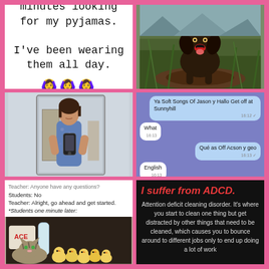[Figure (screenshot): White meme card with text about looking for pyjamas and three woman facepalm emojis]
[Figure (photo): Dog sitting in muddy grass outdoors]
[Figure (photo): Woman in blue floral dress taking mirror selfie with phone]
[Figure (screenshot): WhatsApp chat screenshot in Welsh/English with messages about Ya Soft Songs Of Jason y Hallo, Sunnyhill, and language confusion]
[Figure (screenshot): Classroom meme text: Teacher says anyone have any questions, students say no, teacher says get started, students one minute later: photo of chicks and cat]
[Figure (infographic): Black background meme: I suffer from ADCD. Attention deficit cleaning disorder explanation text in red and white]